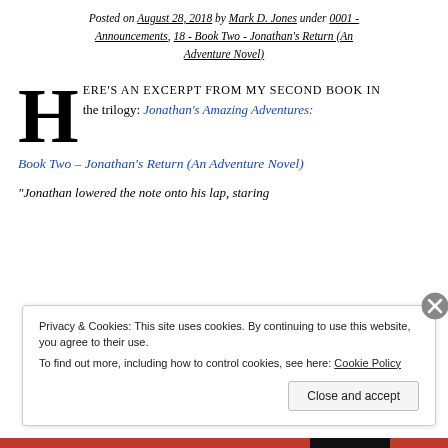Posted on August 28, 2018 by Mark D. Jones under 0001 - Announcements, 18 - Book Two - Jonathan's Return (An Adventure Novel)
HERE'S AN EXCERPT FROM MY SECOND BOOK IN the trilogy: Jonathan's Amazing Adventures: Book Two – Jonathan's Return (An Adventure Novel)
“Jonathan lowered the note onto his lap, staring
Privacy & Cookies: This site uses cookies. By continuing to use this website, you agree to their use. To find out more, including how to control cookies, see here: Cookie Policy
Close and accept